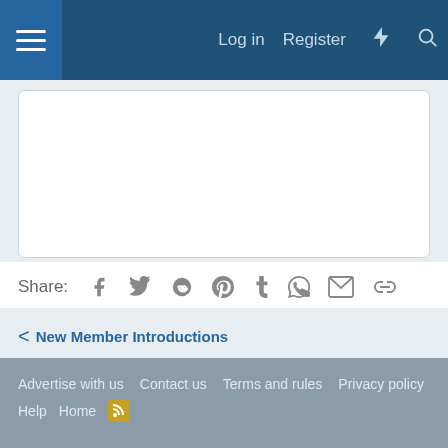Log in  Register
[Figure (screenshot): White content box area (empty/blank post body)]
Share:
[Figure (infographic): Social share icons: Facebook, Twitter, Reddit, Pinterest, Tumblr, WhatsApp, Email, Link]
< New Member Introductions
Advertise with us  Contact us  Terms and rules  Privacy policy  Help  Home